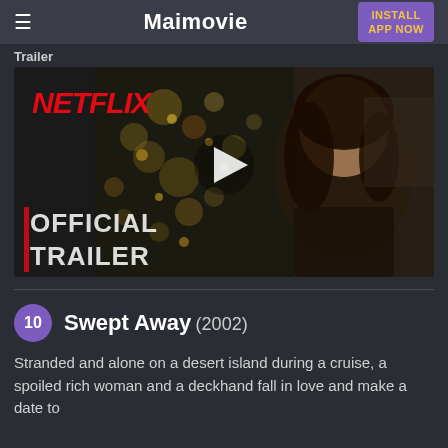Maimovie  INSTALL APP NOW
Trailer
[Figure (screenshot): Netflix Official Trailer video thumbnail showing a woman smiling in front of a Christmas tree with bokeh lights, NETFLIX logo in red top left, play button in center, 'OFFICIAL TRAILER' text overlay in bottom left]
10  Swept Away (2002)
Stranded and alone on a desert island during a cruise, a spoiled rich woman and a deckhand fall in love and make a date to